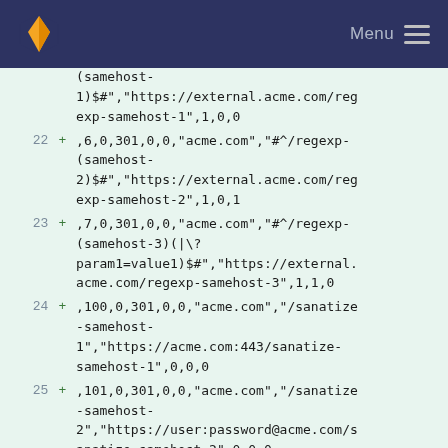Menu
(samehost-1)$#","https://external.acme.com/regexp-samehost-1",1,0,0
22 + ,6,0,301,0,0,"acme.com","#^\/regexp-(samehost-2)$#","https://external.acme.com/regexp-samehost-2",1,0,1
23 + ,7,0,301,0,0,"acme.com","#^\/regexp-(samehost-3)(|\?param1=value1)$#","https://external.acme.com/regexp-samehost-3",1,1,0
24 + ,100,0,301,0,0,"acme.com","/sanatize-samehost-1","https://acme.com:443/sanatize-samehost-1",0,0,0
25 + ,101,0,301,0,0,"acme.com","/sanatize-samehost-2","https://user:password@acme.com/sanatize-samehost-2",0,0,0
26 + ,102,0,301,0,0,"acme.com","/sanatize